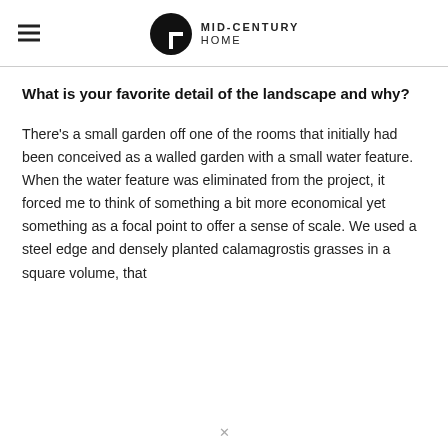MID-CENTURY HOME
What is your favorite detail of the landscape and why?
There's a small garden off one of the rooms that initially had been conceived as a walled garden with a small water feature. When the water feature was eliminated from the project, it forced me to think of something a bit more economical yet something as a focal point to offer a sense of scale. We used a steel edge and densely planted calamagrostis grasses in a square volume, that